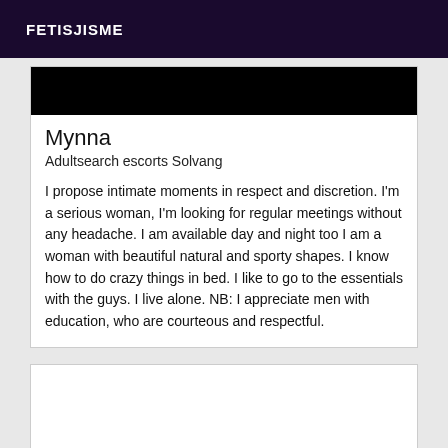FETISJISME
[Figure (photo): Dark/black image area at top of card]
Mynna
Adultsearch escorts Solvang
I propose intimate moments in respect and discretion. I'm a serious woman, I'm looking for regular meetings without any headache. I am available day and night too I am a woman with beautiful natural and sporty shapes. I know how to do crazy things in bed. I like to go to the essentials with the guys. I live alone. NB: I appreciate men with education, who are courteous and respectful.